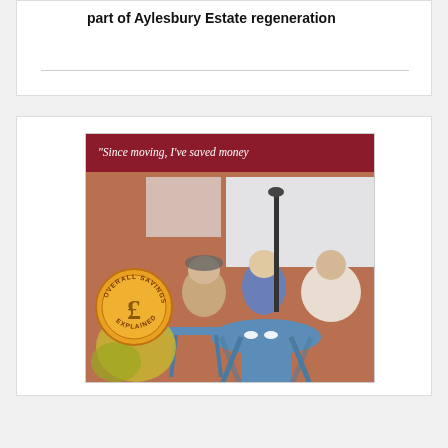part of Aylesbury Estate regeneration
[Figure (illustration): Churchill Retirement Living advertisement. Red header bar with italic white text 'Since moving, I've saved money'. Photo of three elderly women sitting at a blue outdoor table in front of a brick building. Gold coin badge with pound sign and text 'OVERALL SAVINGS EXPLAINED'. Churchill Retirement Living logo and 'FIND OUT MORE' button in dark red.]